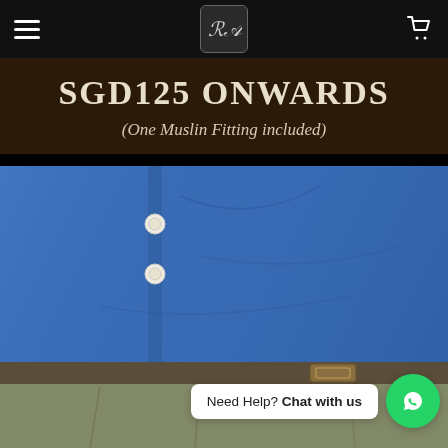Navigation bar with hamburger menu, logo, and cart icon
SGD125 ONWARDS
(One Muslin Fitting included)
[Figure (photo): Close-up photo of a person wearing a blue linen button-up shirt tucked into olive/khaki trousers with a brown belt]
Need Help? Chat with us